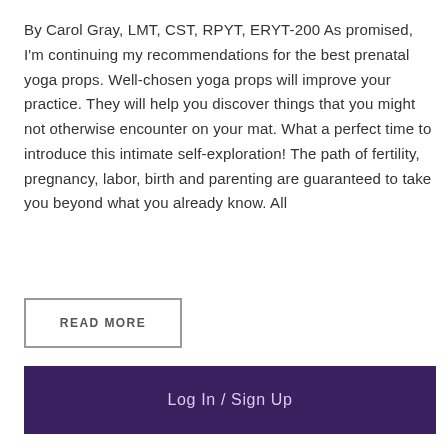By Carol Gray, LMT, CST, RPYT, ERYT-200 As promised, I'm continuing my recommendations for the best prenatal yoga props. Well-chosen yoga props will improve your practice. They will help you discover things that you might not otherwise encounter on your mat. What a perfect time to introduce this intimate self-exploration! The path of fertility, pregnancy, labor, birth and parenting are guaranteed to take you beyond what you already know. All
READ MORE
Log In / Sign Up